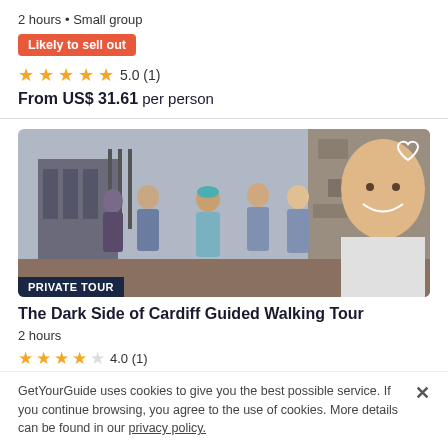2 hours • Small group
Likely to sell out
★★★★★ 5.0 (1)
From US$ 31.61 per person
[Figure (photo): Group of tourists posing for a selfie in front of a historical building. The guide is in the foreground on the right.]
PRIVATE TOUR
The Dark Side of Cardiff Guided Walking Tour
2 hours
★★★★☆ 4.0 (1)
From US$ 160.77 per group up to 6
GetYourGuide uses cookies to give you the best possible service. If you continue browsing, you agree to the use of cookies. More details can be found in our privacy policy.